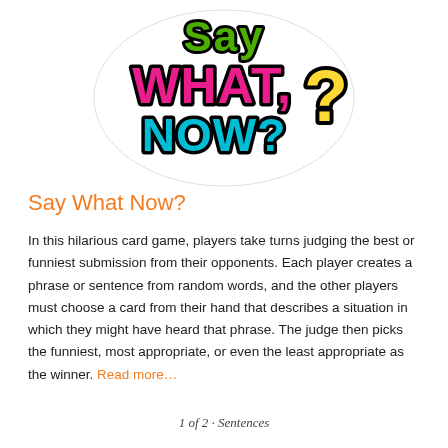[Figure (logo): Say What, Now? colorful card game logo with stylized multicolor bubble letters on white background]
Say What Now?
In this hilarious card game, players take turns judging the best or funniest submission from their opponents. Each player creates a phrase or sentence from random words, and the other players must choose a card from their hand that describes a situation in which they might have heard that phrase. The judge then picks the funniest, most appropriate, or even the least appropriate as the winner. Read more…
1 of 2 · Sentences